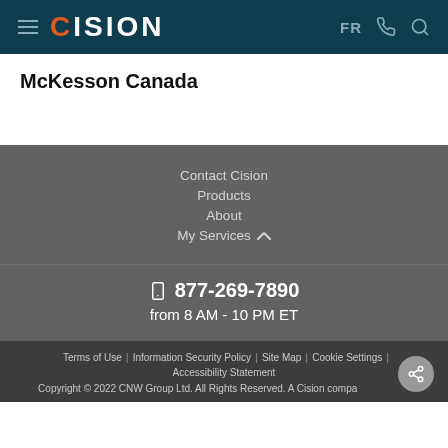CISION — FR
McKesson Canada
Contact Cision
Products
About
My Services
877-269-7890
from 8 AM - 10 PM ET
Terms of Use | Information Security Policy | Site Map | Cookie Settings | Accessibility Statement
Copyright © 2022 CNW Group Ltd. All Rights Reserved. A Cision company.